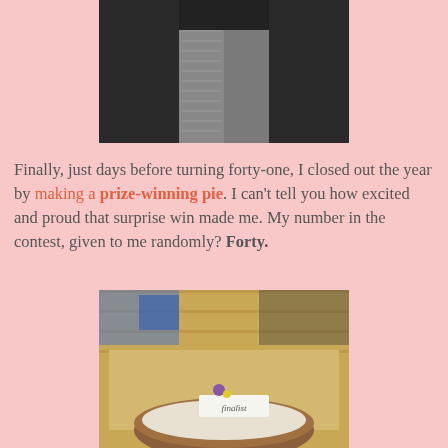[Figure (photo): Partial view of a person's lower body wearing grey patterned leggings and a black top, standing in an indoor setting]
Finally, just days before turning forty-one, I closed out the year by making a prize-winning pie. I can't tell you how excited and proud that surprise win made me. My number in the contest, given to me randomly? Forty.
[Figure (photo): A pie on a wooden table at a contest, with a small sign reading 'finalist' and a decorative flower, viewed from above in an indoor setting with wooden floor visible]